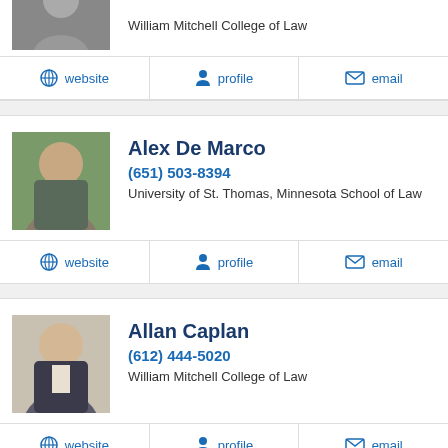[Figure (photo): Partial photo of person in suit at top of page]
William Mitchell College of Law
website   profile   email
Alex De Marco
(651) 503-8394
University of St. Thomas, Minnesota School of Law
website   profile   email
Allan Caplan
(612) 444-5020
William Mitchell College of Law
website   profile   email